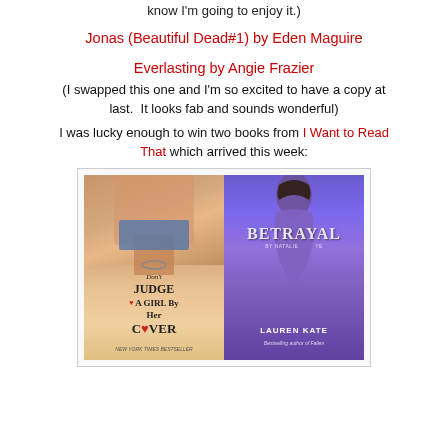know I'm going to enjoy it.)
Jonas (Beautiful Dead#1) by Eden Maguire
Everlasting by Angie Frazier
(I swapped this one and I'm so excited to have a copy at last.  It looks fab and sounds wonderful)
I was lucky enough to win two books from I Want to Read That which arrived this week:
[Figure (photo): Two book covers side by side on a table: 'Don't Judge a Girl by Her Cover' (Gallagher Girls series) on the left and 'Betrayal' by Lauren Kate on the right]